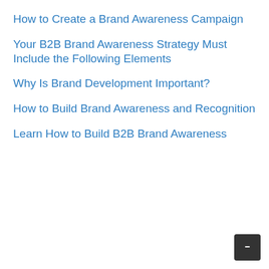How to Create a Brand Awareness Campaign
Your B2B Brand Awareness Strategy Must Include the Following Elements
Why Is Brand Development Important?
How to Build Brand Awareness and Recognition
Learn How to Build B2B Brand Awareness